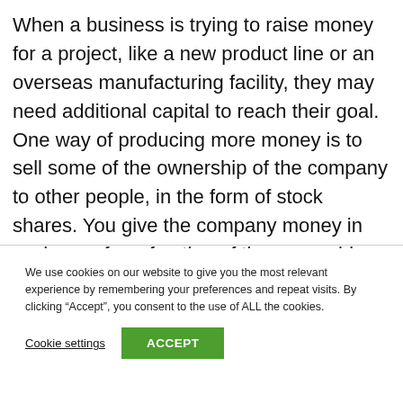When a business is trying to raise money for a project, like a new product line or an overseas manufacturing facility, they may need additional capital to reach their goal. One way of producing more money is to sell some of the ownership of the company to other people, in the form of stock shares. You give the company money in exchange for a fraction of the ownership and any profits in the company.
We use cookies on our website to give you the most relevant experience by remembering your preferences and repeat visits. By clicking “Accept”, you consent to the use of ALL the cookies.
Cookie settings
ACCEPT